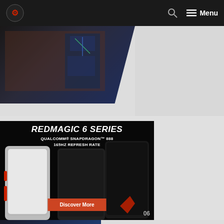Navigation bar with logo, search icon, and Menu
[Figure (screenshot): Newegg advertisement banner with gaming PC background and Newegg logo with 'SHOPPING UPGRADED' tagline]
[Figure (screenshot): RedMagic 6 Series gaming phone advertisement showing two phones with text: REDMAGIC 6 SERIES, QUALCOMM® SNAPDRAGON™ 888, 165HZ REFRESH RATE, and a Discover More button]
[Figure (screenshot): Bottom strip partially visible]